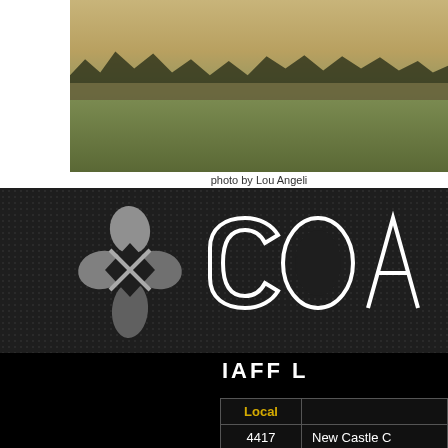[Figure (photo): Outdoor field scene with fog/mist rising from grass, trees visible in background]
photo by Lou Angeli
[Figure (logo): COAST organization logo with diamond/cross icon and partial text 'COA' visible on dark background]
IAFF L
| Local |  |
| --- | --- |
| 4417 | New Castle C |
| 5121 | Sussex Coun |